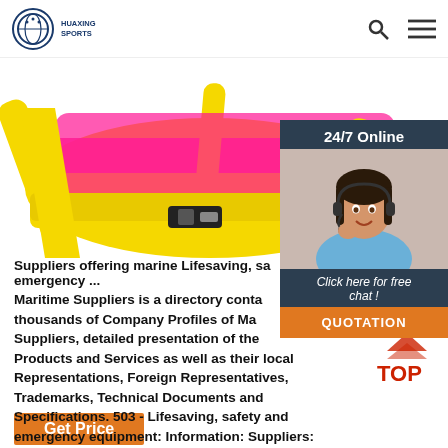HUAXING SPORTS
[Figure (photo): Yellow and pink marine life jacket / buoyancy aid with yellow straps and buckle, on white background]
[Figure (infographic): 24/7 Online chat widget showing a customer service representative with headset, 'Click here for free chat!' text, and QUOTATION button]
Suppliers offering marine Lifesaving, safety and emergency ...
Maritime Suppliers is a directory containing thousands of Company Profiles of Maritime Suppliers, detailed presentation of their Marine Products and Services as well as their local Representations, Foreign Representatives, Trademarks, Technical Documents and Specifications. 503 - Lifesaving, safety and emergency equipment: Information: Suppliers:
[Figure (logo): TOP scroll-to-top icon with red triangle arrows and bold red TOP text]
Get Price